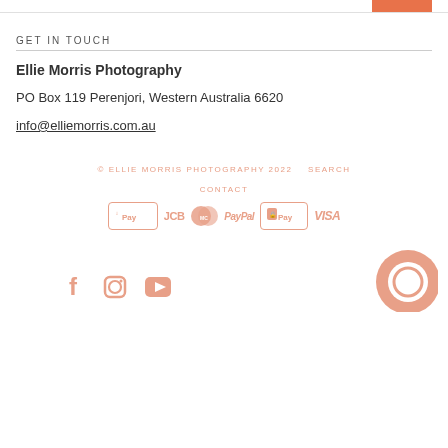GET IN TOUCH
Ellie Morris Photography
PO Box 119 Perenjori, Western Australia 6620
info@elliemorris.com.au
© ELLIE MORRIS PHOTOGRAPHY 2022   SEARCH
CONTACT
[Figure (logo): Payment method icons: Apple Pay, JCB, MasterCard, PayPal, Shopify Pay, VISA]
[Figure (logo): Social media icons: Facebook, Instagram, YouTube, and a chat bubble icon]